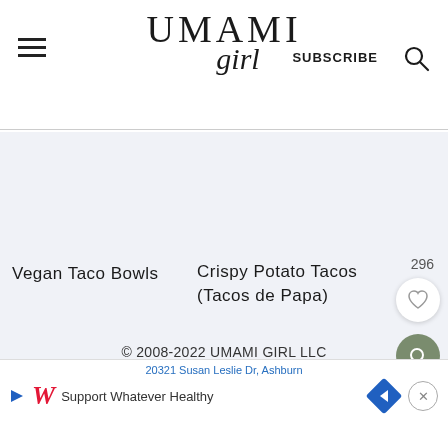UMAMI girl — SUBSCRIBE
[Figure (screenshot): Light blue-gray content area placeholder]
Vegan Taco Bowls
Crispy Potato Tacos (Tacos de Papa)
296
© 2008-2022 UMAMI GIRL LLC
[Figure (screenshot): Advertisement banner: Walgreens — Support Whatever Healthy. Address: 20321 Susan Leslie Dr, Ashburn]